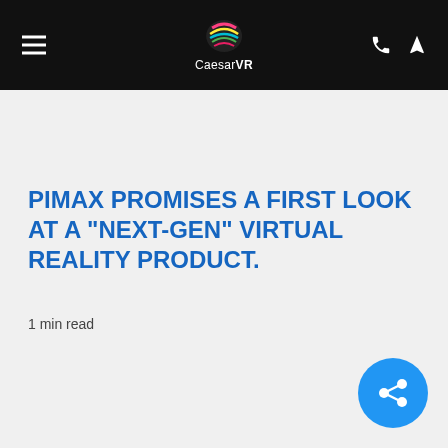CaesarVR
PIMAX PROMISES A FIRST LOOK AT A "NEXT-GEN" VIRTUAL REALITY PRODUCT.
1 min read